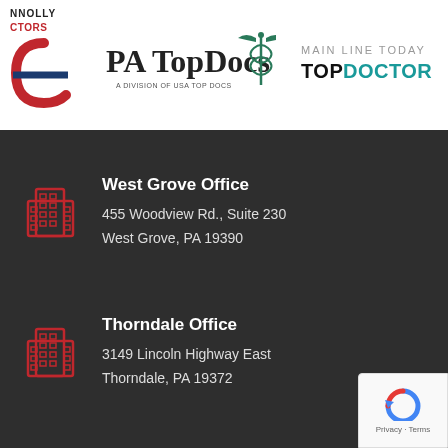[Figure (logo): Connolly Doctors logo with red and dark text and a stylized C with blue stripe]
[Figure (logo): PA Top Docs logo with caduceus symbol in teal/green]
[Figure (logo): Main Line Today Top Doctor logo]
West Grove Office
455 Woodview Rd., Suite 230
West Grove, PA 19390
Thorndale Office
3149 Lincoln Highway East
Thorndale, PA 19372